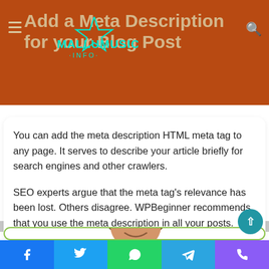Add a Meta Description for your Blog Post
You can add the meta description HTML meta tag to any page. It serves to describe your article briefly for search engines and other crawlers.
SEO experts argue that the meta tag's relevance has been lost. Others disagree. WPBeginner recommends that you use the meta description in all your posts.
[Figure (photo): Partial view of a person's face (smiling man with curly hair) in an author card section]
Social share bar with Facebook, Twitter, WhatsApp, Telegram, and Phone icons